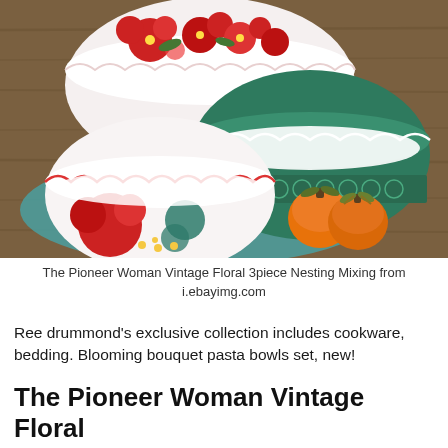[Figure (photo): Three decorative mixing bowls — one large white bowl with red floral pattern at back, one medium teal/green bowl with lace-pattern detail in center-right, one smaller white bowl with red and teal floral pattern in front-left — arranged on a rustic wooden surface with a teal floral cloth napkin. Two orange persimmons sit beside the bowls.]
The Pioneer Woman Vintage Floral 3piece Nesting Mixing from i.ebayimg.com
Ree drummond's exclusive collection includes cookware, bedding. Blooming bouquet pasta bowls set, new!
The Pioneer Woman Vintage Floral Melamine 7-Piece